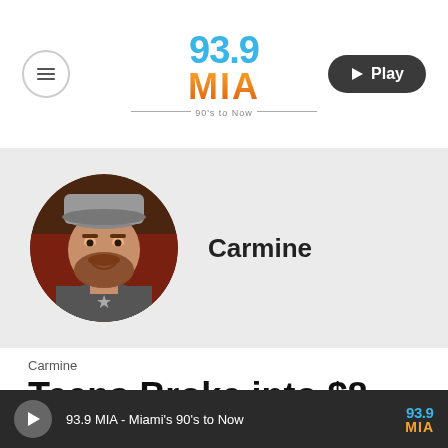93.9 MIA - 90's to Now
[Figure (logo): 93.9 MIA radio station logo with blue '93.9' text, orange 'MIA' text, and '90's to Now' tagline]
[Figure (photo): Circular profile photo of a man named Carmine wearing a backwards cap, smiling, with a beard, wearing a grey shirt with a star logo]
Carmine
Carmine
Teens Broke into $8 Million
93.9 MIA - Miami's 90's to Now